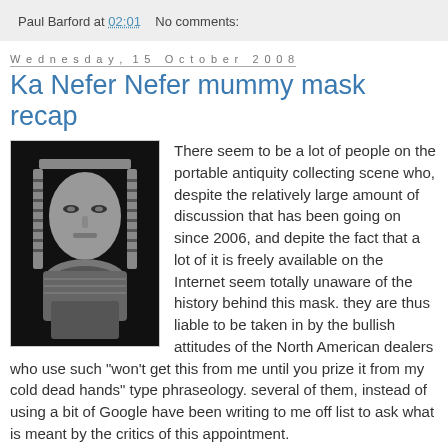Paul Barford at 02:01   No comments:
Wednesday, 15 October 2008
Ka Nefer Nefer mummy mask recap
[Figure (photo): Black and white photograph of the Ka Nefer Nefer mummy mask, showing an Egyptian funerary mask with striped headdress and facial features]
There seem to be a lot of people on the portable antiquity collecting scene who, despite the relatively large amount of discussion that has been going on since 2006, and depite the fact that a lot of it is freely available on the Internet seem totally unaware of the history behind this mask. they are thus liable to be taken in by the bullish attitudes of the North American dealers who use such "won't get this from me until you prize it from my cold dead hands" type phraseology. several of them, instead of using a bit of Google have been writing to me off list to ask what is meant by the critics of this appointment.